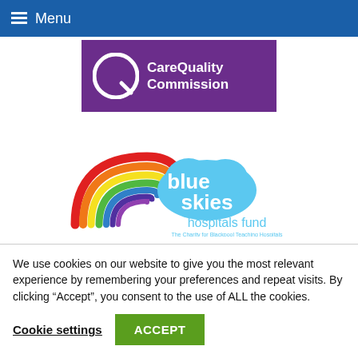Menu
[Figure (logo): Care Quality Commission logo — white text and Q icon on purple background]
[Figure (logo): Blue Skies Hospitals Fund logo — rainbow arc with blue cloud shape and cyan text reading 'blue skies hospitals fund. The Charity for Blackpool Teaching Hospitals']
We use cookies on our website to give you the most relevant experience by remembering your preferences and repeat visits. By clicking "Accept", you consent to the use of ALL the cookies.
Cookie settings   ACCEPT